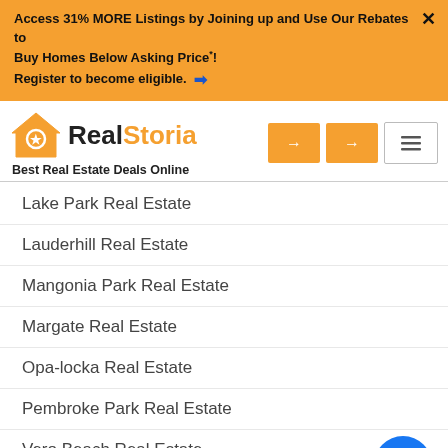Access 31% MORE Listings by Joining up and Use Our Rebates to Buy Homes Below Asking Price*! Register to become eligible.
[Figure (logo): RealStoria logo with house icon and tagline 'Best Real Estate Deals Online']
Lake Park Real Estate
Lauderhill Real Estate
Mangonia Park Real Estate
Margate Real Estate
Opa-locka Real Estate
Pembroke Park Real Estate
Vero Beach Real Estate
Weston Real Estate